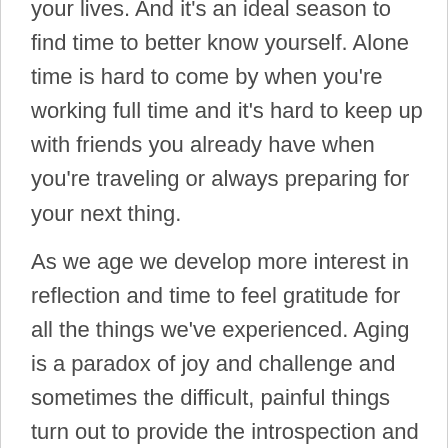your lives. And it's an ideal season to find time to better know yourself. Alone time is hard to come by when you're working full time and it's hard to keep up with friends you already have when you're traveling or always preparing for your next thing.
As we age we develop more interest in reflection and time to feel gratitude for all the things we've experienced. Aging is a paradox of joy and challenge and sometimes the difficult, painful things turn out to provide the introspection and contentment we couldn't find when we were busy striving for them.